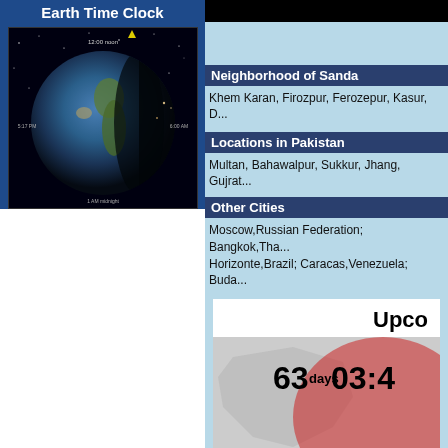Earth Time Clock
[Figure (photo): Globe/Earth image showing day and night side, with stars in background]
Neighborhood of Sanda
Khem Karan, Firozpur, Ferozepur, Kasur, D...
Locations in Pakistan
Multan, Bahawalpur, Sukkur, Jhang, Gujrat...
Other Cities
Moscow,Russian Federation; Bangkok,Tha... Horizonte,Brazil; Caracas,Venezuela; Buda...
Upco
63days03:48
[Figure (map): Map showing North America with red overlay for upcoming event countdown]